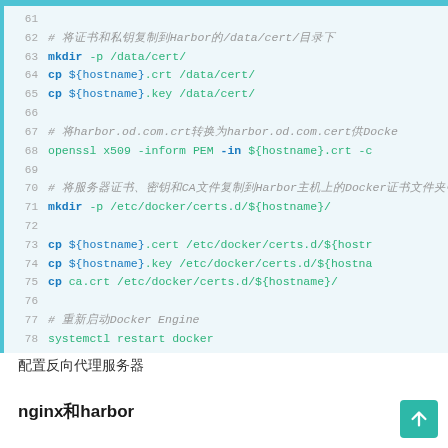[Figure (screenshot): Code block showing shell script lines 61-78 with line numbers, commands in blue/teal, paths in green, comments in grey italic. Commands include mkdir, cp, openssl, systemctl restart docker for Harbor SSL certificate setup.]
配置反向代理服务器
nginx和harbor